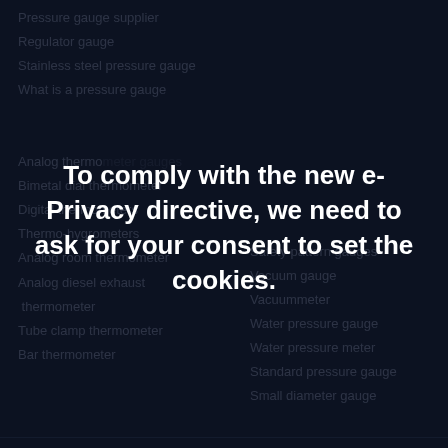Pressure gauge supplier
Regulator gauge
Stainless steel pressure gauge
What is a pressure gauge
Analog thermometer gauges
Bimetal dial thermometer
Digital thermometers
Thermo-hygrometers
Analog room thermometer
Analog diesel exhaust thermometer
Tube clamp thermometer
Bar thermometer
Safety pattern gauges
Vacuum gauge
Vacuummeter
Water pressure gauge
Water pressure meter
Standard pressure gauge
Small diameter gauge
To comply with the new e-Privacy directive, we need to ask for your consent to set the cookies.
ALLOW COOKIES